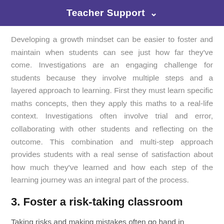Teacher Support
Developing a growth mindset can be easier to foster and maintain when students can see just how far they've come. Investigations are an engaging challenge for students because they involve multiple steps and a layered approach to learning. First they must learn specific maths concepts, then they apply this maths to a real-life context. Investigations often involve trial and error, collaborating with other students and reflecting on the outcome. This combination and multi-step approach provides students with a real sense of satisfaction about how much they've learned and how each step of the learning journey was an integral part of the process.
3. Foster a risk-taking classroom
Taking risks and making mistakes often go hand in